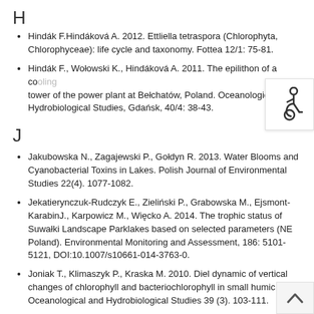H
Hindák F.Hindáková A. 2012. Ettliella tetraspora (Chlorophyta, Chlorophyceae): life cycle and taxonomy. Fottea 12/1: 75-81.
Hindák F., Wołowski K., Hindáková A. 2011. The epilithon of a cooling tower of the power plant at Bełchatów, Poland. Oceanological and Hydrobiological Studies, Gdańsk, 40/4: 38-43.
J
Jakubowska N., Zagajewski P., Gołdyn R. 2013. Water Blooms and Cyanobacterial Toxins in Lakes. Polish Journal of Environmental Studies 22(4). 1077-1082.
Jekatierynczuk-Rudczyk E., Zieliński P., Grabowska M., Ejsmont-KarabinJ., Karpowicz M., Więcko A. 2014. The trophic status of Suwałki Landscape Parklakes based on selected parameters (NE Poland). Environmental Monitoring and Assessment, 186: 5101-5121, DOI:10.1007/s10661-014-3763-0.
Joniak T., Klimaszyk P., Kraska M. 2010. Diel dynamic of vertical changes of chlorophyll and bacteriochlorophyll in small humic lake. Oceanological and Hydrobiological Studies 39 (3). 103-111.